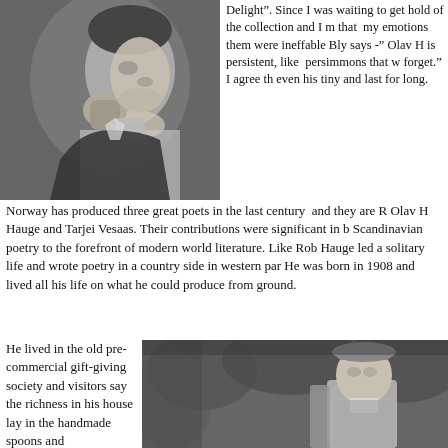[Figure (photo): Black and white close-up photograph of an elderly man, profile view, with his fist raised near his face in a thoughtful or contemplative pose.]
Delight". Since I was waiting to get hold of the collection and I my that my emotions them were ineffable Bly says -" Olav H is persistent, like persimmons that we forget." I agree that even his tiny and last for long.
Norway has produced three great poets in the last century  and they are R Olav H Hauge and Tarjei Vesaas. Their contributions were significant in b Scandinavian poetry to the forefront of modern world literature. Like Rob Hauge led a solitary life and wrote poetry in a country side in western par He was born in 1908 and lived all his life on what he could produce from ground.
He lived in the old pre-commercial gift-giving society and visitors say the richness in his house lay in the handmade spoons and
[Figure (photo): Black and white photograph of an elderly man wearing a hat, standing outdoors among foliage, looking directly at the camera.]